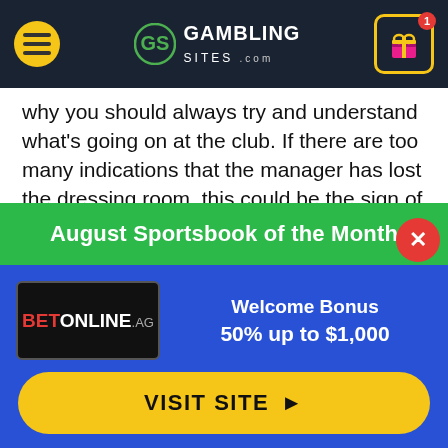GAMBLING SITES .com
why you should always try and understand what's going on at the club. If there are too many indications that the manager has lost the dressing room, this could be the sign of a disaster waiting to happen.
On the contrary, when the team and the man leading it are on the same page, this could significantly boost the performances on the pitch.
August Sportsbook of the Month
Welcome Bonus
50% up to $1,000
VISIT SITE ▶